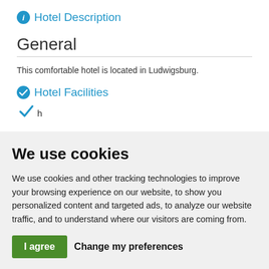Hotel Description
General
This comfortable hotel is located in Ludwigsburg.
Hotel Facilities
h
We use cookies
We use cookies and other tracking technologies to improve your browsing experience on our website, to show you personalized content and targeted ads, to analyze our website traffic, and to understand where our visitors are coming from.
I agree   Change my preferences